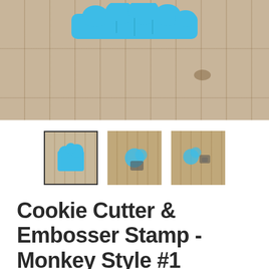[Figure (photo): Main product photo showing blue cookie cutter and embosser stamp set on a wooden surface background. A blue silicone/plastic monkey-shaped cookie cutter is visible at the top against a wood grain background.]
[Figure (photo): Row of three thumbnail product images. First thumbnail (selected, with border) shows a blue monkey-shaped cookie cutter. Second thumbnail shows the cookie cutter from a different angle on wood. Third thumbnail shows multiple pieces of the set on wood.]
Cookie Cutter & Embosser Stamp - Monkey Style #1
COOKIE CUTTER STORE
$19.99